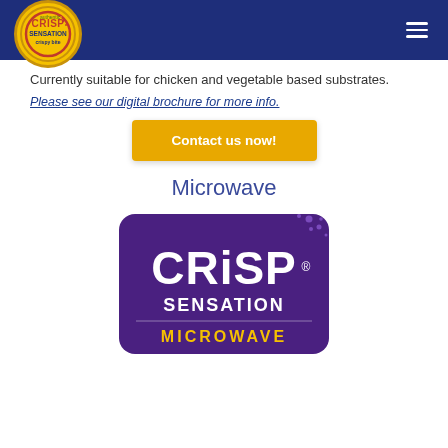Crisp Sensation — Navigation header with logo and hamburger menu
Currently suitable for chicken and vegetable based substrates.
Please see our digital brochure for more info.
Contact us now!
Microwave
[Figure (logo): Crisp Sensation Microwave product logo — dark purple rounded rectangle badge with white text reading CRISP SENSATION MICROWAVE and decorative dots]
The address in the machine is just...will need